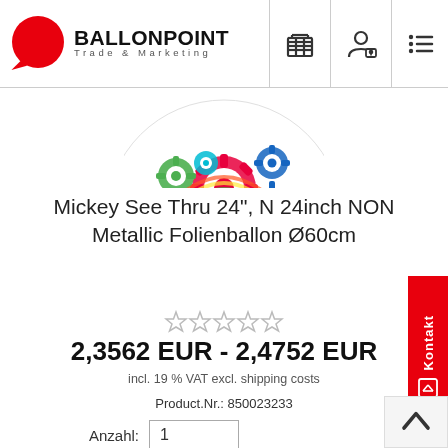[Figure (logo): Ballonpoint Trade & Marketing logo with red circle and company name]
[Figure (photo): Colorful gear/flower pattern balloon (Mickey See Thru), showing top portion of round balloon with multicolored designs and Anagram branding]
Mickey See Thru 24", N 24inch NON Metallic Folienballon Ø60cm
[Figure (other): Five empty/outline star rating icons]
2,3562 EUR - 2,4752 EUR
incl. 19 % VAT excl. shipping costs
Product.Nr.: 850023233
Anzahl: 1
[Figure (other): Kontakt (Contact) sidebar tab in red on the right side of the page]
[Figure (other): Scroll-to-top arrow button in bottom right corner]